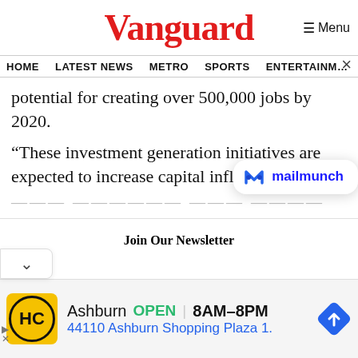Vanguard
HOME  LATEST NEWS  METRO  SPORTS  ENTERTAINMENT  VIDEOS
potential for creating over 500,000 jobs by 2020.
“These investment generation initiatives are expected to increase capital inflo
[Figure (screenshot): Mailmunch popup overlay with logo and text 'mailmunch']
Join Our Newsletter
[Figure (other): Advertisement: HC logo, Ashburn OPEN 8AM-8PM, 44110 Ashburn Shopping Plaza 1., navigation arrow icon]